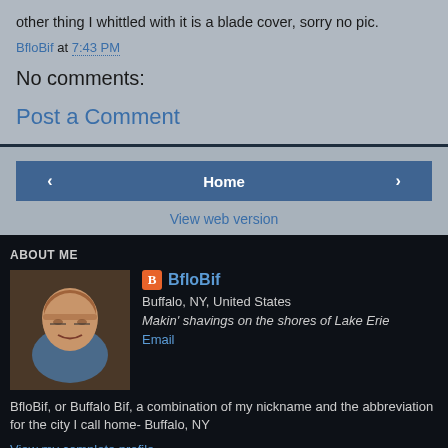other thing I whittled with it is a blade cover, sorry no pic.
BfloBif at 7:43 PM
No comments:
Post a Comment
< Home >
View web version
ABOUT ME
[Figure (photo): Profile photo of BfloBif, a middle-aged man with glasses]
BfloBif
Buffalo, NY, United States
Makin' shavings on the shores of Lake Erie
Email
BfloBif, or Buffalo Bif, a combination of my nickname and the abbreviation for the city I call home- Buffalo, NY
View my complete profile